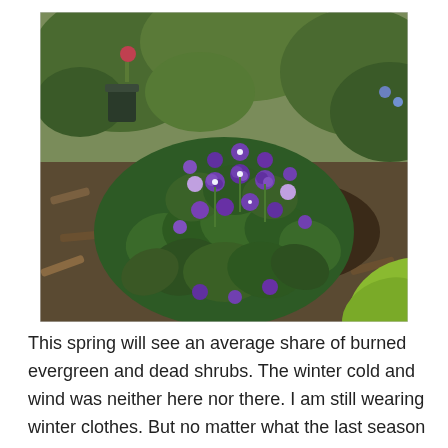[Figure (photo): A cluster of purple violet flowers with green heart-shaped leaves growing in a garden mulched with wood chips. In the background are other green plants and shrubs.]
This spring will see an average share of burned evergreen and dead shrubs. The winter cold and wind was neither here nor there. I am still wearing winter clothes. But no matter what the last season dished out, sooner or later, I get my spring. I can compost my